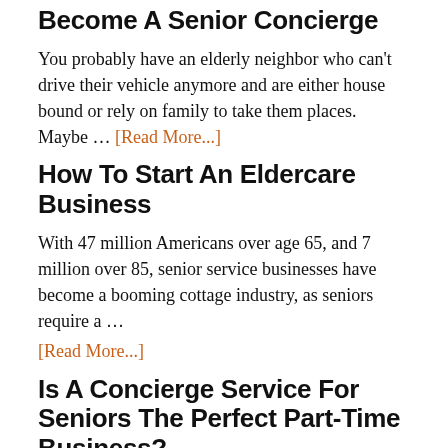Become A Senior Concierge
You probably have an elderly neighbor who can't drive their vehicle anymore and are either house bound or rely on family to take them places. Maybe … [Read More...]
How To Start An Eldercare Business
With 47 million Americans over age 65, and 7 million over 85, senior service businesses have become a booming cottage industry, as seniors require a … [Read More...]
Is A Concierge Service For Seniors The Perfect Part-Time Business?
Are you looking for a way to generate an extra income without having to spend a lot of time doing it? A concierge service for seniors could be the …